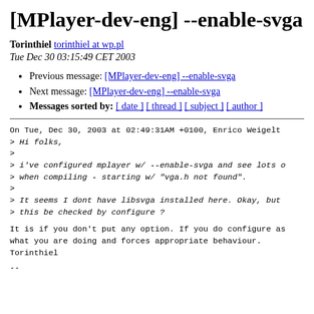[MPlayer-dev-eng] --enable-svga
Torinthiel torinthiel at wp.pl
Tue Dec 30 03:15:49 CET 2003
Previous message: [MPlayer-dev-eng] --enable-svga
Next message: [MPlayer-dev-eng] --enable-svga
Messages sorted by: [ date ] [ thread ] [ subject ] [ author ]
On Tue, Dec 30, 2003 at 02:49:31AM +0100, Enrico Weigelt
> Hi folks,
>
> i've configured mplayer w/ --enable-svga and see lots o
> when compiling - starting w/ "vga.h not found".
>
> It seems I dont have libsvga installed here. Okay, but
> this be checked by configure ?
It is if you don't put any option. If you do configure as
what you are doing and forces appropriate behaviour.
Torinthiel
--